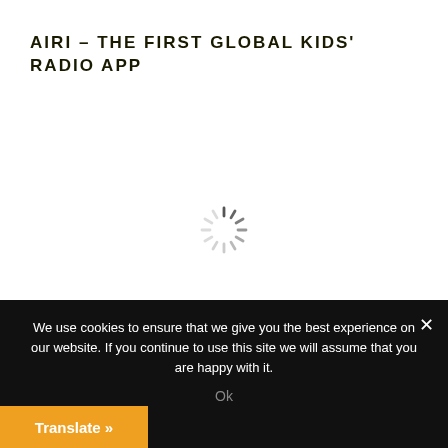AIRI – THE FIRST GLOBAL KIDS' RADIO APP
[Figure (other): Loading spinner / circular progress indicator in the center of the white content area]
We use cookies to ensure that we give you the best experience on our website. If you continue to use this site we will assume that you are happy with it.
Ok
Translate »